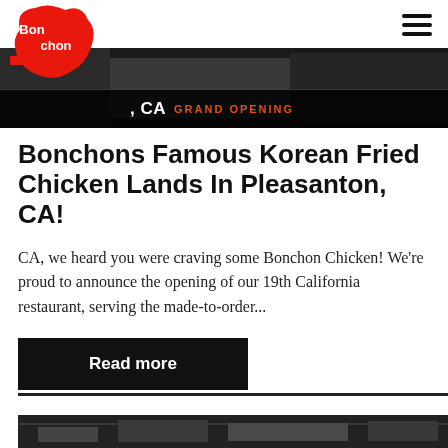[Figure (logo): Bonchon logo — red blob shape with white handwritten text 'Bonchon']
[Figure (photo): Banner photo of a Bonchon restaurant in black and white, with text overlay showing location in CA and GRAND OPENING label]
Bonchons Famous Korean Fried Chicken Lands In Pleasanton, CA!
CA, we heard you were craving some Bonchon Chicken! We're proud to announce the opening of our 19th California restaurant, serving the made-to-order...
Read more
[Figure (photo): Black and white photo strip at the bottom of the page showing a restaurant interior]